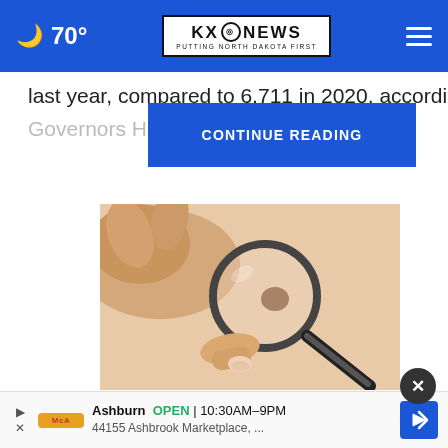🌙 70° | KXO NEWS PUTTING NORTH DAKOTA FIRST | ≡
last year, compared to 6,711 in 2020, according to the
Governors Hig                                     GHSA).
CONTINUE READING
[Figure (photo): Close-up photo of a hand holding a magnifying glass over a mole on skin, with person stretching the skin around it.]
Do You Know What Plaque Psoriasis
Ashburn  OPEN  10:30AM–9PM  44155 Ashbrook Marketplace, ...